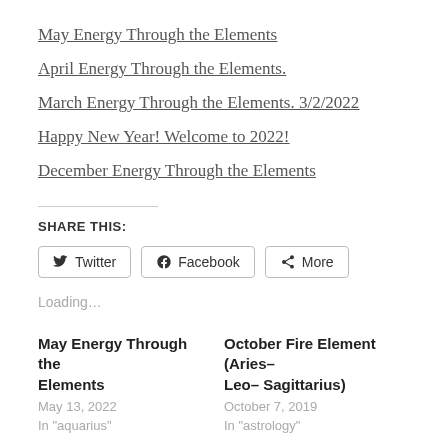May Energy Through the Elements
April Energy Through the Elements.
March Energy Through the Elements. 3/2/2022
Happy New Year! Welcome to 2022!
December Energy Through the Elements
SHARE THIS:
[Figure (other): Social share buttons: Twitter, Facebook, More]
Loading...
May Energy Through the Elements
May 13, 2022
In "aquarius"
October Fire Element (Aries– Leo– Sagittarius)
October 7, 2019
In "astrology"